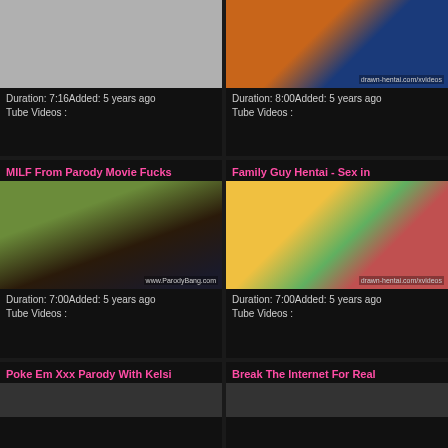[Figure (photo): Video thumbnail - gray placeholder]
Duration: 7:16Added: 5 years ago
Tube Videos :
[Figure (illustration): Animated hentai video thumbnail with drawn-hentai.com/xvideos watermark]
Duration: 8:00Added: 5 years ago
Tube Videos :
MILF From Parody Movie Fucks
Family Guy Hentai - Sex in
[Figure (photo): Live action video thumbnail with www.ParodyBang.com watermark]
Duration: 7:00Added: 5 years ago
Tube Videos :
[Figure (illustration): Simpsons hentai animation thumbnail with drawn-hentai.com/xvideos watermark]
Duration: 7:00Added: 5 years ago
Tube Videos :
Poke Em Xxx Parody With Kelsi
Break The Internet For Real
[Figure (photo): Video thumbnail bottom left - partially visible]
[Figure (photo): Video thumbnail bottom right - partially visible]